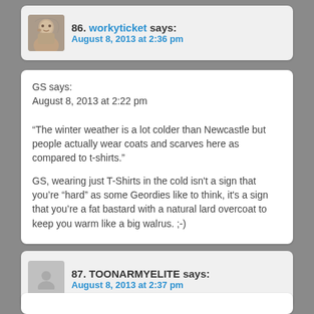86. workyticket says:
August 8, 2013 at 2:36 pm
GS says:
August 8, 2013 at 2:22 pm

“The winter weather is a lot colder than Newcastle but people actually wear coats and scarves here as compared to t-shirts.”

GS, wearing just T-Shirts in the cold isn’t a sign that you’re “hard” as some Geordies like to think, it’s a sign that you’re a fat bastard with a natural lard overcoat to keep you warm like a big walrus. ;-)
87. TOONARMYELITE says:
August 8, 2013 at 2:37 pm